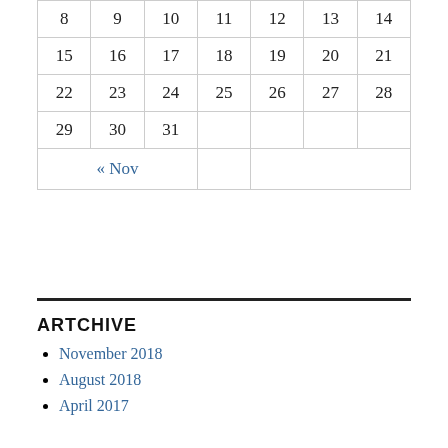| 8 | 9 | 10 | 11 | 12 | 13 | 14 |
| 15 | 16 | 17 | 18 | 19 | 20 | 21 |
| 22 | 23 | 24 | 25 | 26 | 27 | 28 |
| 29 | 30 | 31 |  |  |  |  |
| « Nov |  |  |  |  |  |  |
ARTCHIVE
November 2018
August 2018
April 2017